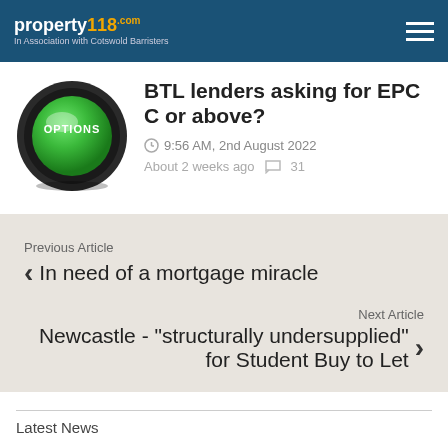property118 | In Association with Cotswold Barristers
[Figure (illustration): Green circular button with glossy effect labeled OPTIONS on a dark metallic ring]
BTL lenders asking for EPC C or above?
9:56 AM, 2nd August 2022
About 2 weeks ago   31
Previous Article
< In need of a mortgage miracle
Next Article
Newcastle - "structurally undersupplied" for Student Buy to Let >
Latest News